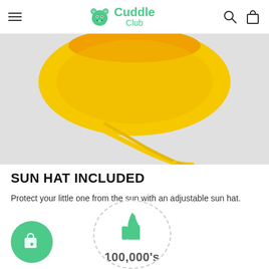Cuddle Club
[Figure (photo): Yellow baby sun hat with drawstring ties on a light gray background, viewed from above]
SUN HAT INCLUDED
Protect your little one from the sun with an adjustable sun hat.
[Figure (infographic): Green circle with shopping bag and heart icon, and a partially visible circular badge with thumbs up icon and text '100,000's']